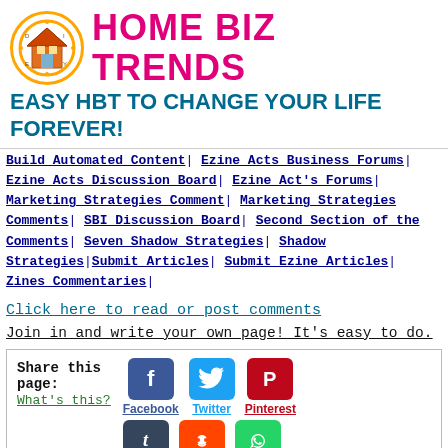[Figure (logo): Home Biz Trends logo: orange circle with house icon and site title 'HOME BIZ TRENDS' in pink/magenta bold text]
EASY HBT TO CHANGE YOUR LIFE FOREVER!
Build Automated Content| Ezine Acts Business Forums| Ezine Acts Discussion Board| Ezine Act's Forums| Marketing Strategies Comment| Marketing Strategies Comments| SBI Discussion Board| Second Section of the Comments| Seven Shadow Strategies| Shadow Strategies|Submit Articles| Submit Ezine Articles| Zines Commentaries|
Click here to read or post comments
Join in and write your own page! It's easy to do.
Share this page: What's this? [Facebook] [Twitter] [Pinterest] [Tumblr] [Reddit] [WhatsApp]